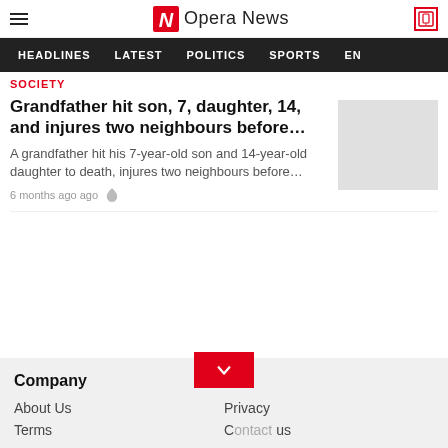Opera News
HEADLINES   LATEST   POLITICS   SPORTS   EN...
SOCIETY
Grandfather hit son, 7, daughter, 14, and injures two neighbours before…
A grandfather hit his 7-year-old son and 14-year-old daughter to death, injures two neighbours before…
6 months ago ago
Company
About Us
Terms
Privacy
Contact us